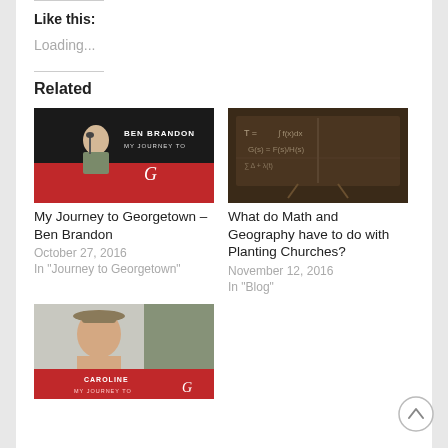Like this:
Loading...
Related
[Figure (photo): Ben Brandon - My Journey to Georgetown promotional image with man playing guitar on dark background with red banner]
My Journey to Georgetown – Ben Brandon
October 27, 2016
In "Journey to Georgetown"
[Figure (photo): Chalkboard with math equations and geography-related content]
What do Math and Geography have to do with Planting Churches?
November 12, 2016
In "Blog"
[Figure (photo): Caroline - My Journey To Georgetown promotional image with woman in hat]